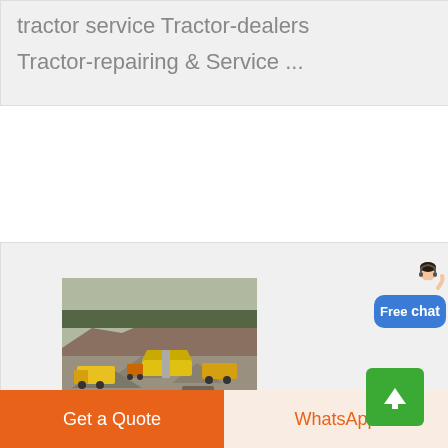tractor service Tractor-dealers
Tractor-repairing & Service ...
[Figure (photo): Outdoor quarry/mining scene with yellow dump trucks, a mobile crusher, and a rocky hillside in the background. Logo 'CN' visible at bottom right of image.]
[Figure (illustration): Customer service representative figure (woman with headset) used as chat widget decoration.]
Free chat
Get a Quote
WhatsApp